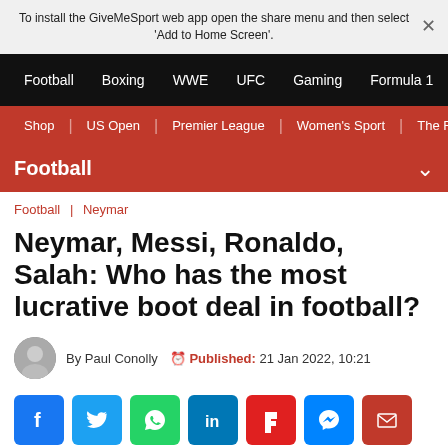To install the GiveMeSport web app open the share menu and then select 'Add to Home Screen'.
Football | Boxing | WWE | UFC | Gaming | Formula 1
Shop | US Open | Premier League | Women's Sport | The Fo
Football
Football | Neymar
Neymar, Messi, Ronaldo, Salah: Who has the most lucrative boot deal in football?
By Paul Conolly  Published: 21 Jan 2022, 10:21
[Figure (infographic): Social share icons row: Facebook, Twitter, WhatsApp, LinkedIn, Flipboard, Messenger, Email]